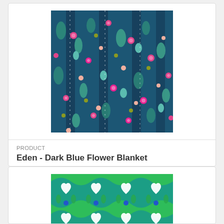[Figure (photo): Dark blue floral fabric pattern with pink, magenta, teal, and green flowers and leaves on a navy background]
PRODUCT
Eden - Dark Blue Flower Blanket
$11.99
[Figure (photo): Teal and green geometric floral/heart pattern fabric on a bright green background]